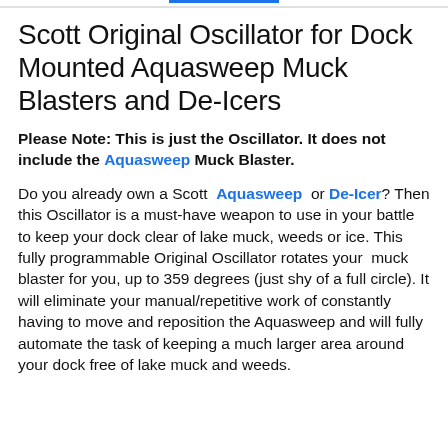Scott Original Oscillator for Dock Mounted Aquasweep Muck Blasters and De-Icers
Please Note: This is just the Oscillator. It does not include the Aquasweep Muck Blaster.
Do you already own a Scott Aquasweep or De-Icer? Then this Oscillator is a must-have weapon to use in your battle to keep your dock clear of lake muck, weeds or ice. This fully programmable Original Oscillator rotates your muck blaster for you, up to 359 degrees (just shy of a full circle). It will eliminate your manual/repetitive work of constantly having to move and reposition the Aquasweep and will fully automate the task of keeping a much larger area around your dock free of lake muck and weeds.